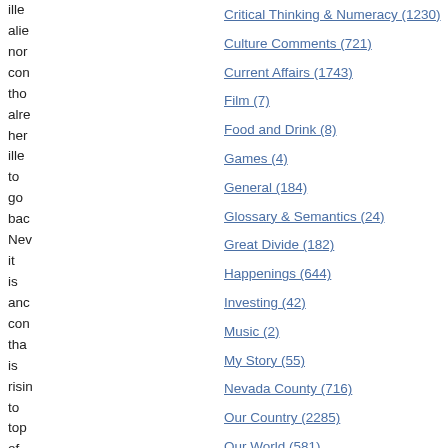ille
alie
nor
con
tho
alre
her
ille
to
go
bac
Nev
it
is
anc
con
tha
is
risin
to
top
of
our
Critical Thinking & Numeracy (1230)
Culture Comments (721)
Current Affairs (1743)
Film (7)
Food and Drink (8)
Games (4)
General (184)
Glossary & Semantics (24)
Great Divide (182)
Happenings (644)
Investing (42)
Music (2)
My Story (55)
Nevada County (716)
Our Country (2285)
Our World (581)
Rebane Doctrine (97)
Religion (38)